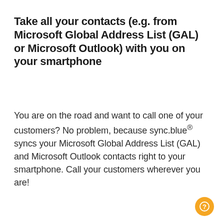Take all your contacts (e.g. from Microsoft Global Address List (GAL) or Microsoft Outlook) with you on your smartphone
You are on the road and want to call one of your customers? No problem, because sync.blue® syncs your Microsoft Global Address List (GAL) and Microsoft Outlook contacts right to your smartphone. Call your customers wherever you are!